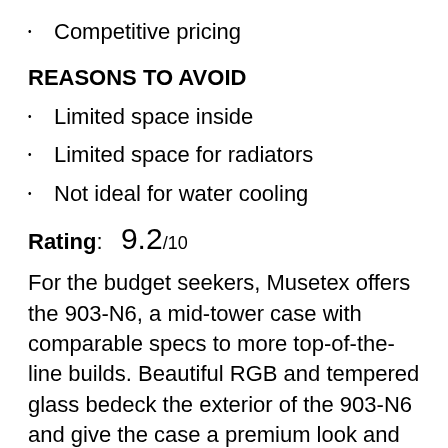Competitive pricing
REASONS TO AVOID
Limited space inside
Limited space for radiators
Not ideal for water cooling
Rating:   9.2/10
For the budget seekers, Musetex offers the 903-N6, a mid-tower case with comparable specs to more top-of-the-line builds. Beautiful RGB and tempered glass bedeck the exterior of the 903-N6 and give the case a premium look and feel while it...